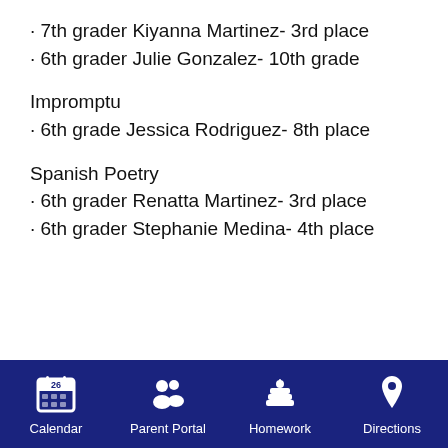· 7th grader Kiyanna Martinez- 3rd place
· 6th grader Julie Gonzalez- 10th grade
Impromptu
· 6th grade Jessica Rodriguez- 8th place
Spanish Poetry
· 6th grader Renatta Martinez- 3rd place
· 6th grader Stephanie Medina- 4th place
Calendar  Parent Portal  Homework  Directions